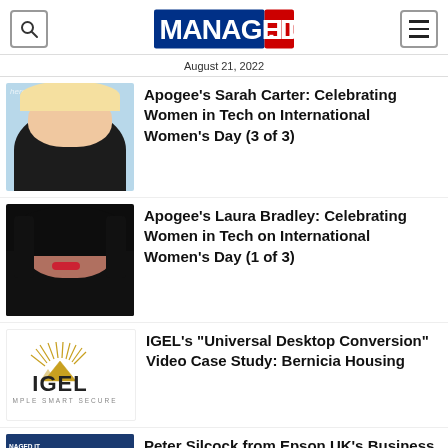MANAGED.IT — August 21, 2022
[Figure (photo): Thumbnail photo of Sarah Carter with blue background, text 'wherever you a...' visible]
Apogee's Sarah Carter: Celebrating Women in Tech on International Women's Day (3 of 3)
[Figure (photo): Thumbnail photo of Laura Bradley against dark background]
Apogee's Laura Bradley: Celebrating Women in Tech on International Women's Day (1 of 3)
[Figure (logo): IGEL logo — sun rays above IGEL text, tagline SIMPLE SMART SECURE]
IGEL's "Universal Desktop Conversion" Video Case Study: Bernicia Housing
[Figure (screenshot): Thumbnail of Peter Silcock with NAGED.IT overlay and play button]
Peter Silcock from Epson UK's Business Imaging unit talks to Managed.IT